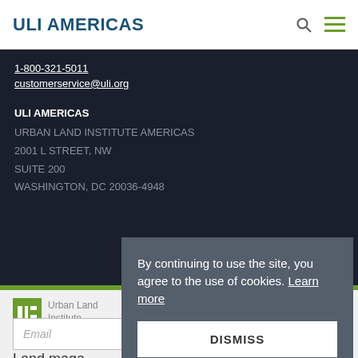ULI AMERICAS
1-800-321-5011
customerservice@uli.org
ULI AMERICAS
URBAN LAND INSTITUTE AMERICAS
2001 L STREET, NW
SUITE 200
WASHINGTON, DC 20036-4948
Urban Land Institute
Sign up for d...
Land maga...
By continuing to use the site, you agree to the use of cookies. Learn more
DISMISS
Email
SIGN UP